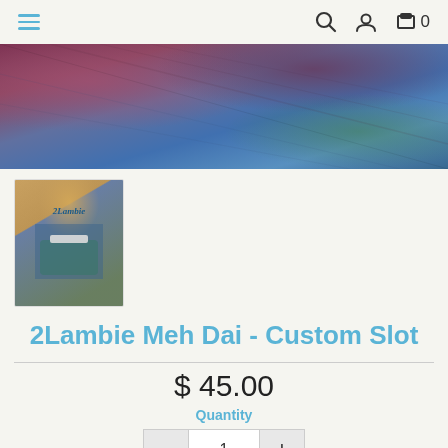Navigation bar with menu, search, user, and cart (0) icons
[Figure (photo): Hero image showing a colorful woven wrap/scarf around a person wearing a blue top, with green foliage in background]
[Figure (photo): Thumbnail of a baby carrier (Meh Dai) with golden/teal woven fabric and blue background, with '2Lambie' embroidered label]
2Lambie Meh Dai - Custom Slot
$ 45.00
Quantity
1